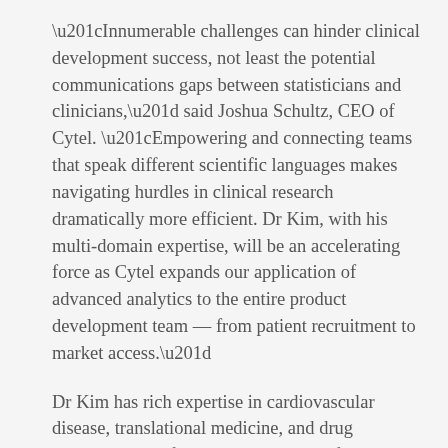“Innumerable challenges can hinder clinical development success, not least the potential communications gaps between statisticians and clinicians,” said Joshua Schultz, CEO of Cytel. “Empowering and connecting teams that speak different scientific languages makes navigating hurdles in clinical research dramatically more efficient. Dr Kim, with his multi-domain expertise, will be an accelerating force as Cytel expands our application of advanced analytics to the entire product development team — from patient recruitment to market access.”
Dr Kim has rich expertise in cardiovascular disease, translational medicine, and drug development. After receiving degrees from Harvard and UCLA, completing residency at Brigham and Women’s Hospital, and undertaking further specialty training at Mass General Hospital and UCSF, he achieved board certification in internal medicine, cardiology, and clinical cardiology...